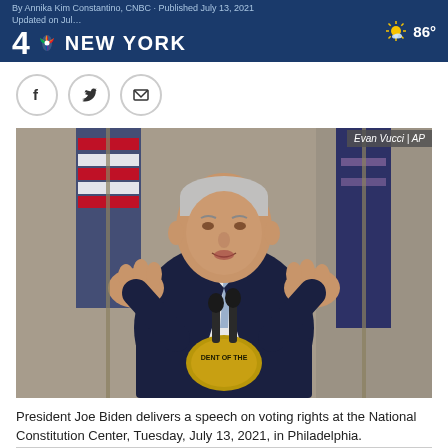By Annika Kim Constantino, CNBC · Published July 13, 2021 · Updated on Jul... | 4 NBC NEW YORK | 86°
[Figure (photo): President Joe Biden speaks at a podium with the presidential seal, gesturing with both hands raised, with American flags in the background. Photo credit: Evan Vucci | AP]
President Joe Biden delivers a speech on voting rights at the National Constitution Center, Tuesday, July 13, 2021, in Philadelphia.